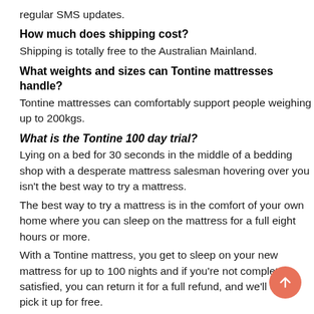regular SMS updates.
How much does shipping cost?
Shipping is totally free to the Australian Mainland.
What weights and sizes can Tontine mattresses handle?
Tontine mattresses can comfortably support people weighing up to 200kgs.
What is the Tontine 100 day trial?
Lying on a bed for 30 seconds in the middle of a bedding shop with a desperate mattress salesman hovering over you isn't the best way to try a mattress.
The best way to try a mattress is in the comfort of your own home where you can sleep on the mattress for a full eight hours or more.
With a Tontine mattress, you get to sleep on your new mattress for up to 100 nights and if you're not completely satisfied, you can return it for a full refund, and we'll even pick it up for free.
Because it usually takes time for your body to adjust to any